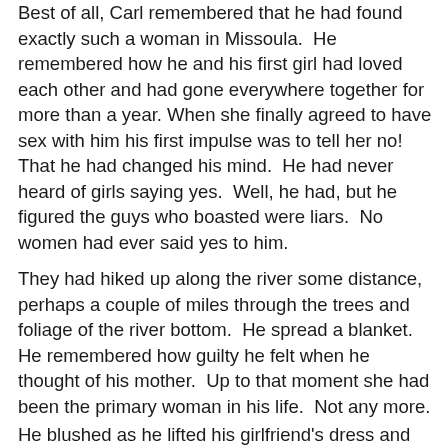Best of all, Carl remembered that he had found exactly such a woman in Missoula.  He remembered how he and his first girl had loved each other and had gone everywhere together for more than a year. When she finally agreed to have sex with him his first impulse was to tell her no! That he had changed his mind.  He had never heard of girls saying yes.  Well, he had, but he figured the guys who boasted were liars.  No women had ever said yes to him.
They had hiked up along the river some distance, perhaps a couple of miles through the trees and foliage of the river bottom.  He spread a blanket.  He remembered how guilty he felt when he thought of his mother.  Up to that moment she had been the primary woman in his life.  Not any more.
He blushed as he lifted his girlfriend's dress and pulled her